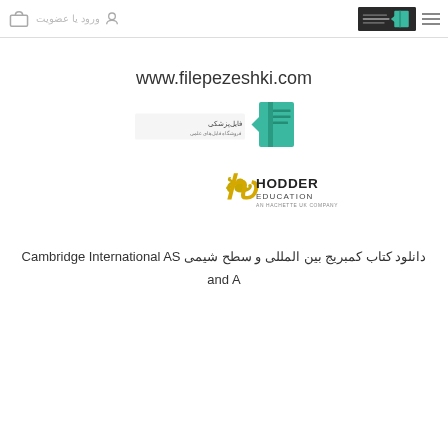ورود یا عضویت
www.filepezeshki.com
[Figure (logo): filepezeshki.com website logo with teal/green book and text in Persian]
[Figure (logo): Hodder Education - An Hachette UK Company logo]
دانلود کتاب کمبریج بین المللی و سطح شیمی Cambridge International AS and A